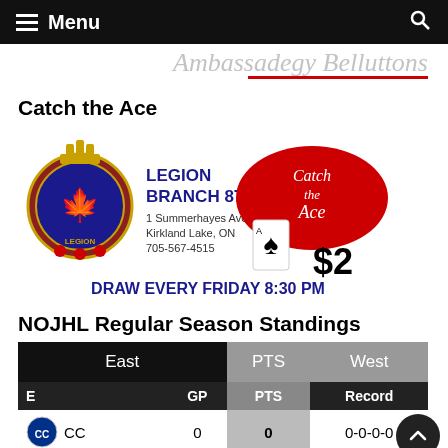Menu
Catch the Ace
[Figure (logo): Legion Branch 87 Catch the Ace advertisement. Logo shows Royal Canadian Legion crest, text: LEGION BRANCH 87, 1 Summerhayes Ave., Kirkland Lake, ON, 705-567-4515. Red oval with 'Catch the Ace' script. Ace of spades card with $2 price. Text: DRAW EVERY FRIDAY 8:30 PM]
NOJHL Regular Season Standings
| E | GP | PTS | Record |
| --- | --- | --- | --- |
| CC | 0 | 0 | 0-0-0-0 |